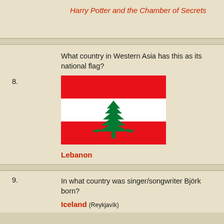Harry Potter and the Chamber of Secrets
What country in Western Asia has this as its national flag?
8.
[Figure (illustration): Flag of Lebanon: three horizontal bands — red on top, white in middle with green Cedar of Lebanon tree, red on bottom]
Lebanon
9. In what country was singer/songwriter Björk born?
Iceland (Reykjavík)